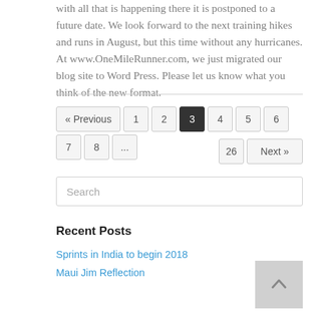with all that is happening there it is postponed to a future date. We look forward to the next training hikes and runs in August, but this time without any hurricanes. At www.OneMileRunner.com, we just migrated our blog site to Word Press. Please let us know what you think of the new format.
« Previous  1  2  3  4  5  6  7  8  ...  26  Next »
Search
Recent Posts
Sprints in India to begin 2018
Maui Jim Reflection